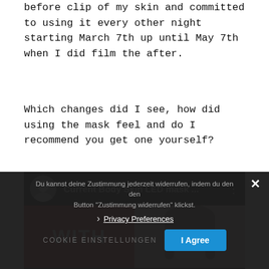before clip of my skin and committed to using it every other night starting March 7th up until May 7th when I did film the after.
Which changes did I see, how did using the mask feel and do I recommend you get one yourself?
[Figure (screenshot): YouTube video thumbnail showing 'Current Body Skin LED mask ...' with avatar, video title, three-dot menu, and thumbnail split between a red section with 'WITH' text and a face photo on white/grey background.]
Du kannst deine Zustimmung jederzeit widerrufen, indem du den den Button "Zustimmung widerrufen" klickst.
Privacy Preferences
COOKIE EINSTELLUNGEN
I Agree